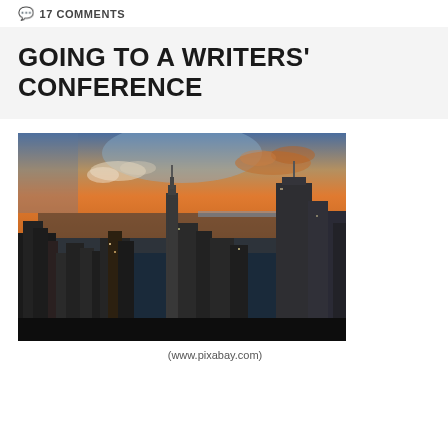17 COMMENTS
GOING TO A WRITERS' CONFERENCE
[Figure (photo): Aerial cityscape of New York City at sunset showing skyscrapers including the Empire State Building, with orange and blue sky]
(www.pixabay.com)